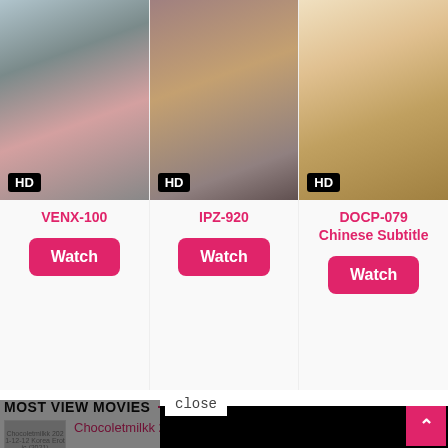[Figure (screenshot): Thumbnail image for VENX-100 video with HD badge]
VENX-100
Watch
[Figure (screenshot): Thumbnail image for IPZ-920 video with HD badge]
IPZ-920
Watch
[Figure (screenshot): Thumbnail image for DOCP-079 Chinese Subtitle video with HD badge]
DOCP-079
Chinese Subtitle
Watch
MOST VIEW MOVIES
Chocoletmilkk 2021-12-12 Korea Erotic (2...
[Figure (screenshot): Age verification modal dialog: 'Are you 18 or older?' with NO and YES buttons, and a close button.]